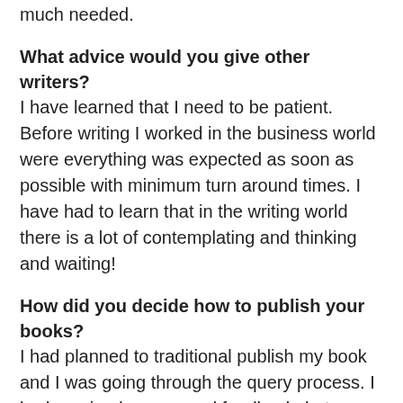much needed.
What advice would you give other writers?
I have learned that I need to be patient. Before writing I worked in the business world were everything was expected as soon as possible with minimum turn around times. I have had to learn that in the writing world there is a lot of contemplating and thinking and waiting!
How did you decide how to publish your books?
I had planned to traditional publish my book and I was going through the query process. I had received some good feedback, but was in a waiting pattern. Then, I ended up on a radio show with a